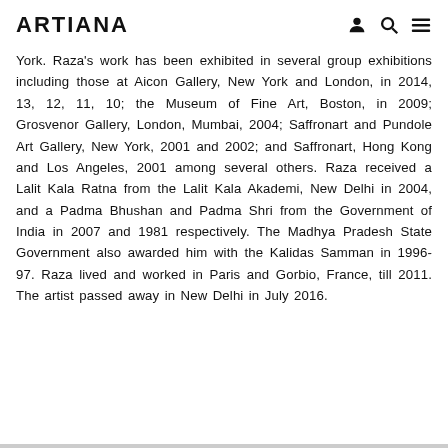ARTIANA
York. Raza’s work has been exhibited in several group exhibitions including those at Aicon Gallery, New York and London, in 2014, 13, 12, 11, 10; the Museum of Fine Art, Boston, in 2009; Grosvenor Gallery, London, Mumbai, 2004; Saffronart and Pundole Art Gallery, New York, 2001 and 2002; and Saffronart, Hong Kong and Los Angeles, 2001 among several others. Raza received a Lalit Kala Ratna from the Lalit Kala Akademi, New Delhi in 2004, and a Padma Bhushan and Padma Shri from the Government of India in 2007 and 1981 respectively. The Madhya Pradesh State Government also awarded him with the Kalidas Samman in 1996-97. Raza lived and worked in Paris and Gorbio, France, till 2011. The artist passed away in New Delhi in July 2016.